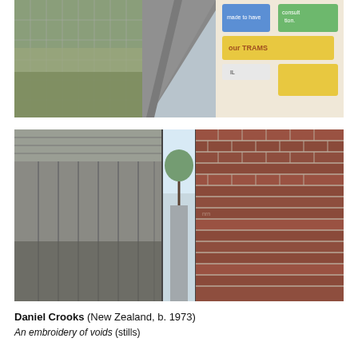[Figure (photo): Outdoor alleyway photo showing a path between a chain-link fence on the left with dry brush, and a wall on the right covered in colorful graffiti murals with text including 'consultation' and 'TRAMS'. The path recedes into the distance.]
[Figure (photo): Narrow alley or passageway between a corrugated metal/wood fence on the left and a red brick wall on the right. In the middle, a mirrored or reflected narrow gap shows palm trees and sky in daylight. The passage appears to extend far into the distance.]
Daniel Crooks (New Zealand, b. 1973)
An embroidery of voids (stills)